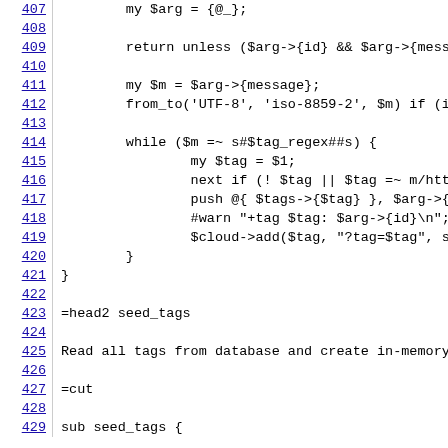[Figure (screenshot): Source code viewer showing lines 407-429 of a Perl script. Line numbers are shown in blue underlined links on the left. Code includes Perl syntax with variable assignments, return statements, while loops, push operations, and POD documentation markers (=head2, =cut). Lines 407-421 show a subroutine body, lines 423-427 show POD documentation for seed_tags, and line 429 starts a new subroutine definition.]